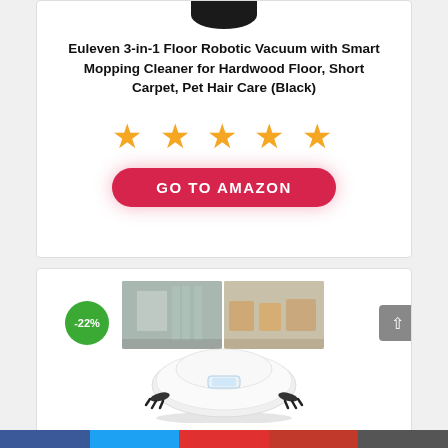[Figure (photo): Bottom part of black robotic vacuum cleaner (top card, cropped at top)]
Euleven 3-in-1 Floor Robotic Vacuum with Smart Mopping Cleaner for Hardwood Floor, Short Carpet, Pet Hair Care (Black)
[Figure (other): Five orange star rating icons]
[Figure (other): GO TO AMAZON button (red pill-shaped button with white bold text)]
[Figure (photo): White robotic vacuum cleaner product image with two room background thumbnails above it; -22% discount badge in green circle on upper left]